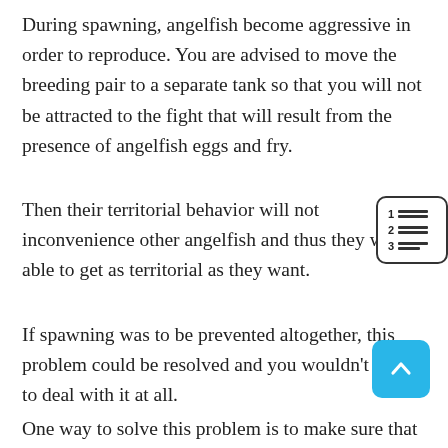During spawning, angelfish become aggressive in order to reproduce. You are advised to move the breeding pair to a separate tank so that you will not be attracted to the fight that will result from the presence of angelfish eggs and fry.
Then their territorial behavior will not inconvenience other angelfish and thus they will be able to get as territorial as they want.
If spawning was to be prevented altogether, this problem could be resolved and you wouldn't have to deal with it at all.
One way to solve this problem is to make sure that